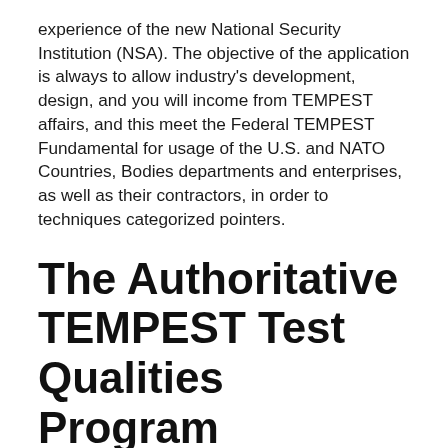experience of the new National Security Institution (NSA). The objective of the application is always to allow industry's development, design, and you will income from TEMPEST affairs, and this meet the Federal TEMPEST Fundamental for usage of the U.S. and NATO Countries, Bodies departments and enterprises, as well as their contractors, in order to techniques categorized pointers.
The Authoritative TEMPEST Test Qualities Program
The newest Authoritative TEMPEST Take to